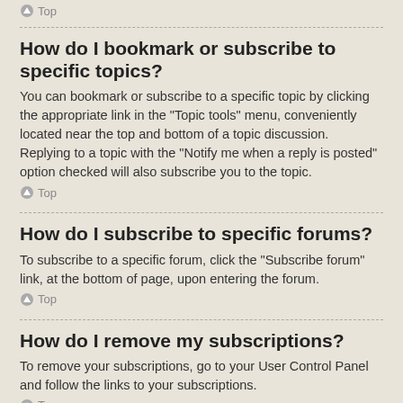Top
How do I bookmark or subscribe to specific topics?
You can bookmark or subscribe to a specific topic by clicking the appropriate link in the “Topic tools” menu, conveniently located near the top and bottom of a topic discussion.
Replying to a topic with the “Notify me when a reply is posted” option checked will also subscribe you to the topic.
Top
How do I subscribe to specific forums?
To subscribe to a specific forum, click the “Subscribe forum” link, at the bottom of page, upon entering the forum.
Top
How do I remove my subscriptions?
To remove your subscriptions, go to your User Control Panel and follow the links to your subscriptions.
Top